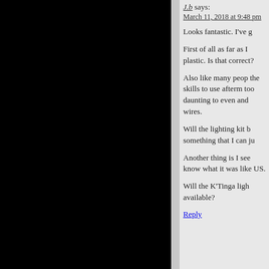[Figure (photo): Large black panel on the left side of the page]
J.b says:
March 11, 2018 at 9:48 pm
Looks fantastic. I've g
First of all as far as I plastic. Is that correct?
Also like many peop the skills to use afterm too daunting to even and wires.
Will the lighting kit b something that I can ju
Another thing is I see know what it was like US.
Will the K'Tinga ligh available?
Reply